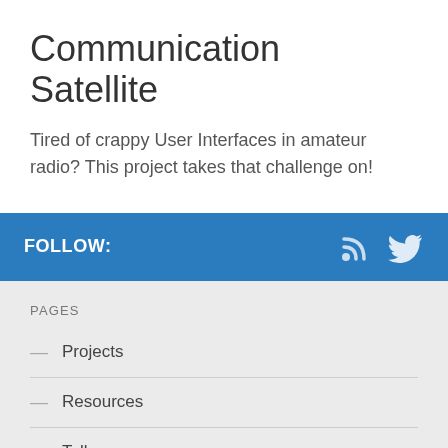Communication Satellite
Tired of crappy User Interfaces in amateur radio? This project takes that challenge on!
FOLLOW:
PAGES
Projects
Resources
Talks
Help Wanted! (Discourse)